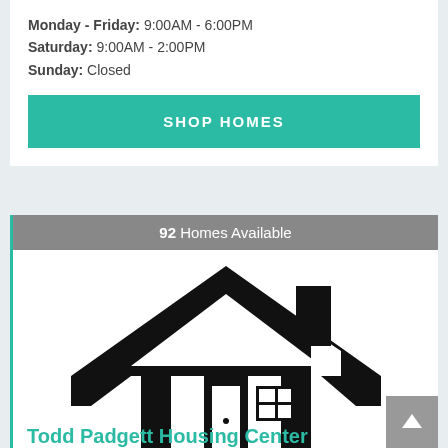Monday - Friday: 9:00AM - 6:00PM
Saturday: 9:00AM - 2:00PM
Sunday: Closed
SHOP HOMES
92 Homes Available
[Figure (logo): Todd Padgett Housing Center logo — stylized house/arrow shape in black with door and window]
Todd Padgett Housing Center